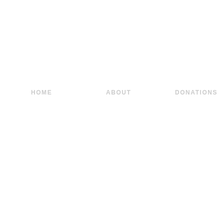HOME   ABOUT   DONATIONS   FUNDED PRO